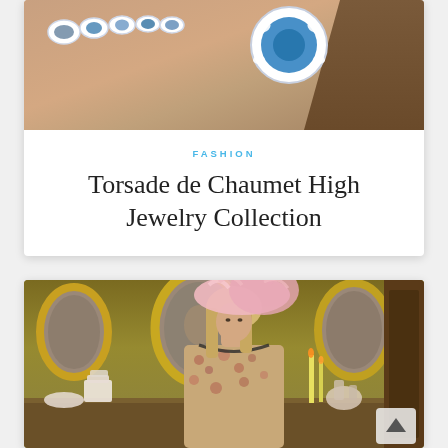[Figure (photo): Close-up photo of hands wearing blue sapphire and diamond jewelry — a bracelet and a cocktail ring — against a skin-toned background with dark hair visible]
FASHION
Torsade de Chaumet High Jewelry Collection
[Figure (photo): Fashion editorial photo of a blonde woman wearing a pink feathered hat and a floral dress, seated at an antique table covered with porcelain figurines, teacups, and decorative objects, in a room with gold-framed oval mirrors and ochre walls]